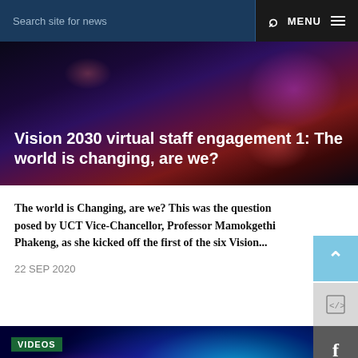Search site for news  MENU
Vision 2030 virtual staff engagement 1: The world is changing, are we?
The world is Changing, are we? This was the question posed by UCT Vice-Chancellor, Professor Mamokgethi Phakeng, as she kicked off the first of the six Vision...
22 SEP 2020
[Figure (screenshot): Video thumbnail showing colorful powder explosion on dark blue background with a play button icon and VIDEOS label]
VIDEOS